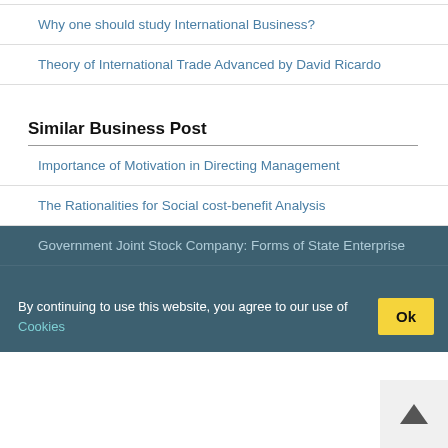Why one should study International Business?
Theory of International Trade Advanced by David Ricardo
Similar Business Post
Importance of Motivation in Directing Management
The Rationalities for Social cost-benefit Analysis
Government Joint Stock Company: Forms of State Enterprise
Contents of Resume
CAMELS Rating
By continuing to use this website, you agree to our use of Cookies